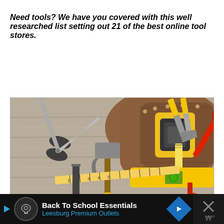Need tools? We have you covered with this well researched list setting out 21 of the best online tool stores.
[Figure (photo): Photo of a leather tool belt/pouch on a wooden surface filled with various tools including scissors/snips, a tape measure, a hammer, pliers, a yellow spirit level, red folding ruler, and other tools. A heart/favorite button (teal circle with heart icon) is overlaid in the bottom-right corner.]
[Figure (other): Advertisement banner with dark background. Shows a play button, a circular logo icon, text 'Back To School Essentials' and 'Leesburg Premium Outlets', a blue diamond-shaped arrow icon, and a partially visible dark right panel with an X and currency symbols.]